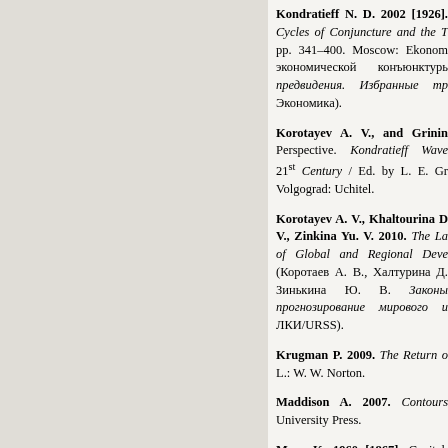Kondratieff N. D. 2002 [1926]. Cycles of Conjuncture and the T... pp. 341–400. Moscow: Ekonom... экономической конъюнктурь... предвидения. Избранные тр... Экономика).
Korotayev A. V., and Grinin... Perspective. Kondratieff Wave... 21st Century / Ed. by L. E. Gr... Volgograd: Uchitel.
Korotayev A. V., Khaltourina D... V., Zinkina Yu. V. 2010. The La... of Global and Regional Deve... (Коротаев А. В., Халтурина Д... Зинькина Ю. В. Законы... прогнозирование мирового и... ЛКИ/URSS).
Krugman P. 2009. The Return o... L.: W. W. Norton.
Maddison A. 2007. Contours... University Press.
Marx K. 1960 [1867]. Capital. Vol. 23. Moscow: Politizdat. In R...